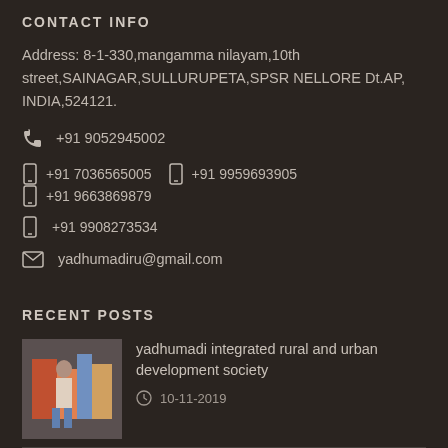CONTACT INFO
Address: 8-1-330,mangamma nilayam,10th street,SAINAGAR,SULLURUPETA,SPSR NELLORE Dt.AP,INDIA,524121.
+91 9052945002
+91 7036565005  +91 9959693905  +91 9663869879  +91 9908273534
yadhumadiru@gmail.com
RECENT POSTS
yadhumadi integrated rural and urban development society
10-11-2019
Independence day